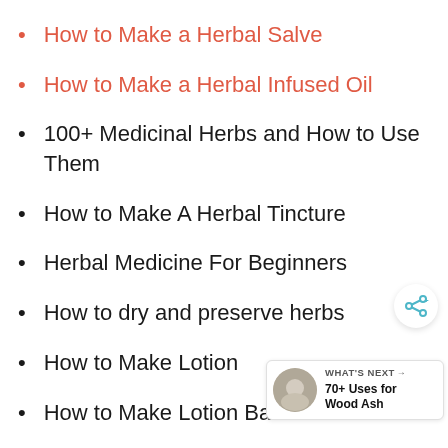How to Make a Herbal Salve
How to Make a Herbal Infused Oil
100+ Medicinal Herbs and How to Use Them
How to Make A Herbal Tincture
Herbal Medicine For Beginners
How to dry and preserve herbs
How to Make Lotion
How to Make Lotion Bars